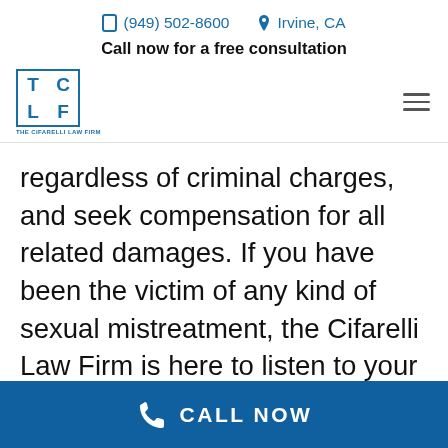(949) 502-8600  Irvine, CA
Call now for a free consultation
[Figure (logo): The Cifarelli Law Firm logo — TCLF in a square border with text below]
regardless of criminal charges, and seek compensation for all related damages. If you have been the victim of any kind of sexual mistreatment, the Cifarelli Law Firm is here to listen to your story and provide honest information about the best path
CALL NOW